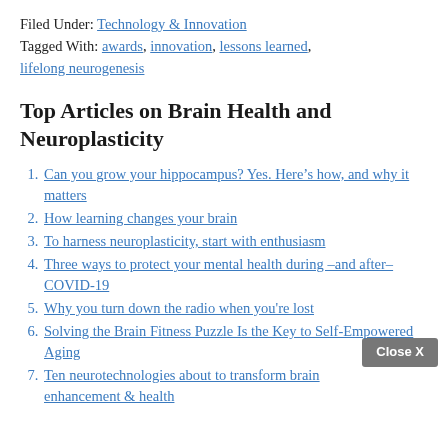Filed Under: Technology & Innovation
Tagged With: awards, innovation, lessons learned, lifelong neurogenesis
Top Articles on Brain Health and Neuroplasticity
Can you grow your hippocampus? Yes. Here’s how, and why it matters
How learning changes your brain
To harness neuroplasticity, start with enthusiasm
Three ways to protect your mental health during –and after– COVID-19
Why you turn down the radio when you're lost
Solving the Brain Fitness Puzzle Is the Key to Self-Empowered Aging
Ten neurotechnologies about to transform brain enhancement & health